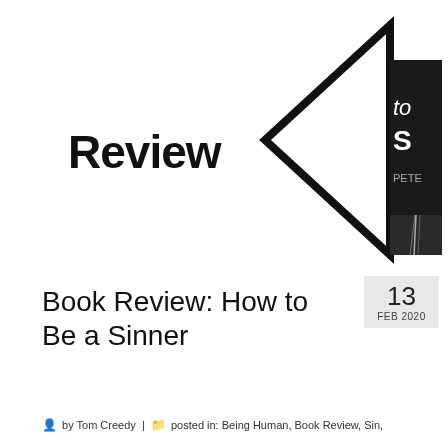[Figure (logo): Review logo: bold text 'Review' with a large left-pointing triangle/play-button shape outline in black, and a partial book cover image on the right showing dark background with text 'to S' and 'PETE' partially visible]
Book Review: How to Be a Sinner
13 FEB 2020
by Tom Creedy | posted in: Being Human, Book Review, Sin,